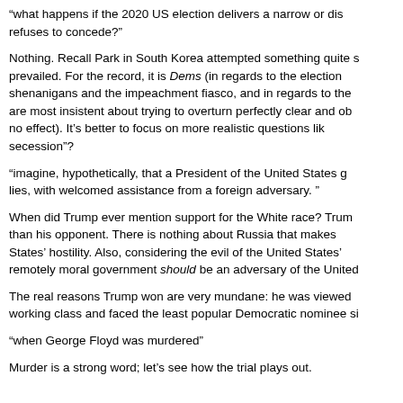“what happens if the 2020 US election delivers a narrow or dis refuses to concede?”
Nothing. Recall Park in South Korea attempted something quite s prevailed. For the record, it is Dems (in regards to the election shenanigans and the impeachment fiasco, and in regards to the are most insistent about trying to overturn perfectly clear and ob no effect). It’s better to focus on more realistic questions lik secession”?
“imagine, hypothetically, that a President of the United States g lies, with welcomed assistance from a foreign adversary. ”
When did Trump ever mention support for the White race? Trum than his opponent. There is nothing about Russia that makes States’ hostility. Also, considering the evil of the United States’ remotely moral government should be an adversary of the United
The real reasons Trump won are very mundane: he was viewed working class and faced the least popular Democratic nominee si
“when George Floyd was murdered”
Murder is a strong word; let’s see how the trial plays out.